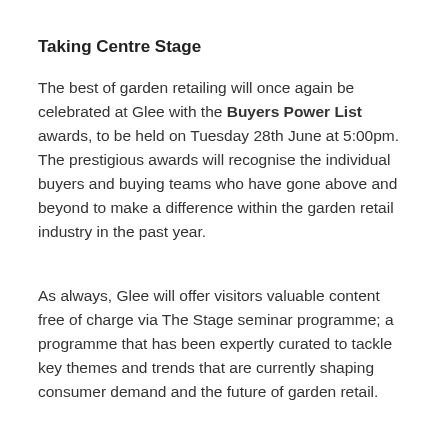Taking Centre Stage
The best of garden retailing will once again be celebrated at Glee with the Buyers Power List awards, to be held on Tuesday 28th June at 5:00pm. The prestigious awards will recognise the individual buyers and buying teams who have gone above and beyond to make a difference within the garden retail industry in the past year.
As always, Glee will offer visitors valuable content free of charge via The Stage seminar programme; a programme that has been expertly curated to tackle key themes and trends that are currently shaping consumer demand and the future of garden retail.